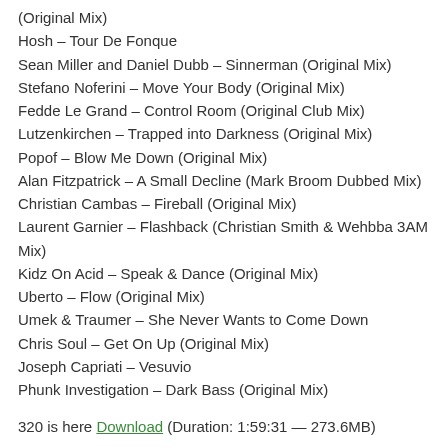(Original Mix)
Hosh – Tour De Fonque
Sean Miller and Daniel Dubb – Sinnerman (Original Mix)
Stefano Noferini – Move Your Body (Original Mix)
Fedde Le Grand – Control Room (Original Club Mix)
Lutzenkirchen – Trapped into Darkness (Original Mix)
Popof – Blow Me Down (Original Mix)
Alan Fitzpatrick – A Small Decline (Mark Broom Dubbed Mix)
Christian Cambas – Fireball (Original Mix)
Laurent Garnier – Flashback (Christian Smith & Wehbba 3AM Mix)
Kidz On Acid – Speak & Dance (Original Mix)
Uberto – Flow (Original Mix)
Umek & Traumer – She Never Wants to Come Down
Chris Soul – Get On Up (Original Mix)
Joseph Capriati – Vesuvio
Phunk Investigation – Dark Bass (Original Mix)
320 is here Download (Duration: 1:59:31 — 273.6MB)